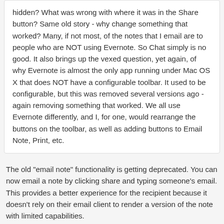hidden? What was wrong with where it was in the Share button? Same old story - why change something that worked? Many, if not most, of the notes that I email are to people who are NOT using Evernote. So Chat simply is no good. It also brings up the vexed question, yet again, of why Evernote is almost the only app running under Mac OS X that does NOT have a configurable toolbar. It used to be configurable, but this was removed several versions ago - again removing something that worked. We all use Evernote differently, and I, for one, would rearrange the buttons on the toolbar, as well as adding buttons to Email Note, Print, etc.
The old "email note" functionality is getting deprecated. You can now email a note by clicking share and typing someone's email. This provides a better experience for the recipient because it doesn't rely on their email client to render a version of the note with limited capabilities.
On 11/2/2014 at 12:23 AM, NightStalker said:
Please consider bringing back a configurable toolbar - it is virtually